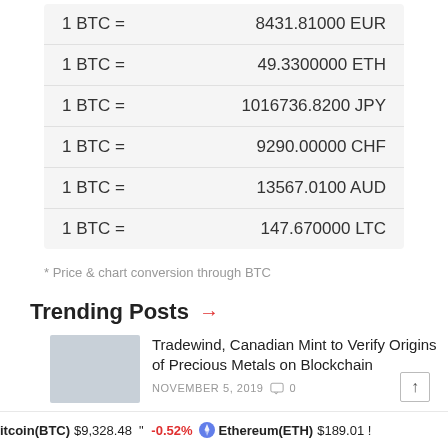|  |  |
| --- | --- |
| 1 BTC = | 8431.81000 EUR |
| 1 BTC = | 49.3300000 ETH |
| 1 BTC = | 1016736.8200 JPY |
| 1 BTC = | 9290.00000 CHF |
| 1 BTC = | 13567.0100 AUD |
| 1 BTC = | 147.670000 LTC |
* Price & chart conversion through BTC
Trending Posts →
Tradewind, Canadian Mint to Verify Origins of Precious Metals on Blockchain
NOVEMBER 5, 2019  0
itcoin(BTC) $9,328.48  " -0.52%   Ethereum(ETH) $189.01 !